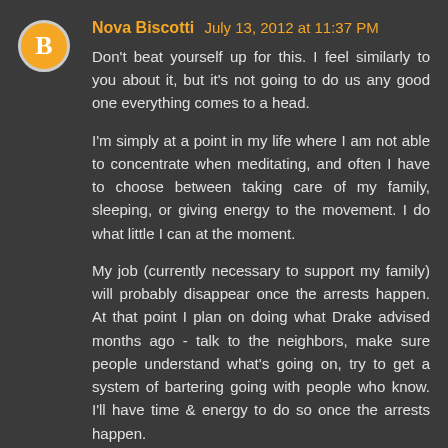Nova Biscotti  July 13, 2012 at 11:37 PM
Don't beat yourself up for this. I feel similarly to you about it, but it's not going to do us any good one everything comes to a head.
I'm simply at a point in my life where I am not able to concentrate when meditating, and often I have to choose between taking care of my family, sleeping, or giving energy to the movement. I do what little I can at the moment.
My job (currently necessary to support my family) will probably disappear once the arrests happen. At that point I plan on doing what Drake advised months ago - talk to the neighbors, make sure people understand what's going on, try to get a system of bartering going with people who know. I'll have time & energy to do so once the arrests happen.
I'm trying to understand as much as I can now